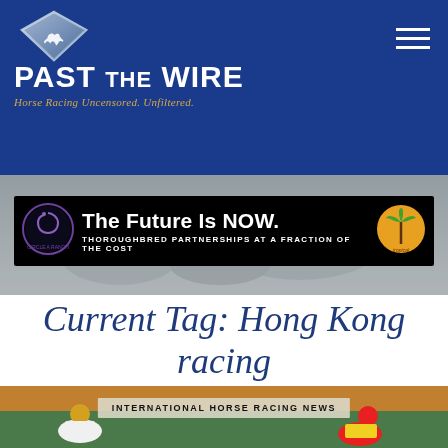PAST THE WIRE — Horse Racing Uncensored. Unfiltered.
[Figure (screenshot): Past The Wire website advertisement banner: The Future Is NOW. Thoroughbred Partnerships at a Fraction of the Cost]
Current Tag: Hong Kong racing
[Figure (photo): Jockeys racing on horseback with INTERNATIONAL HORSE RACING NEWS label overlay]